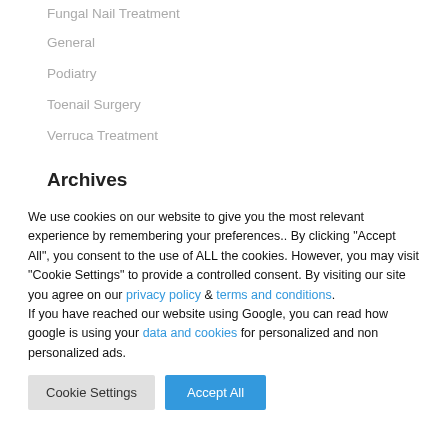Fungal Nail Treatment
General
Podiatry
Toenail Surgery
Verruca Treatment
Archives
We use cookies on our website to give you the most relevant experience by remembering your preferences.. By clicking “Accept All”, you consent to the use of ALL the cookies. However, you may visit “Cookie Settings” to provide a controlled consent. By visiting our site you agree on our privacy policy & terms and conditions. If you have reached our website using Google, you can read how google is using your data and cookies for personalized and non personalized ads.